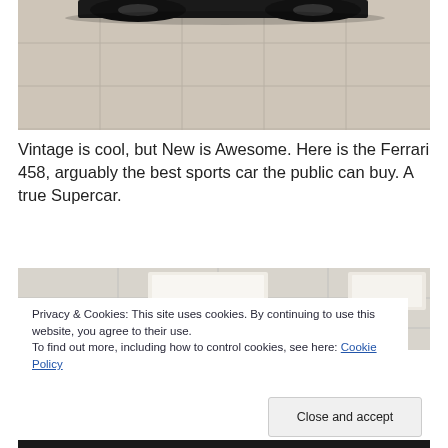[Figure (photo): Bottom portion of a black Ferrari 458 on a light gray tiled showroom floor. Only the lower part of the car and tires are visible.]
Vintage is cool, but New is Awesome. Here is the Ferrari 458, arguably the best sports car the public can buy. A true Supercar.
[Figure (photo): Interior of a showroom or garage with a white drop ceiling and recessed lighting panels visible.]
Privacy & Cookies: This site uses cookies. By continuing to use this website, you agree to their use.
To find out more, including how to control cookies, see here: Cookie Policy
Close and accept
[Figure (photo): Bottom strip showing dark interior or exterior car detail photos.]